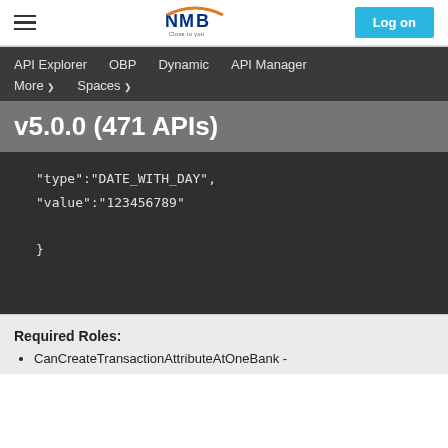NMB Bank - API Explorer - Log on
API Explorer  OBP  Dynamic  API Manager  More  Spaces
v5.0.0 (471 APIs)
"type":"DATE_WITH_DAY",
"value":"123456789"
}
Required Roles:
CanCreateTransactionAttributeAtOneBank -